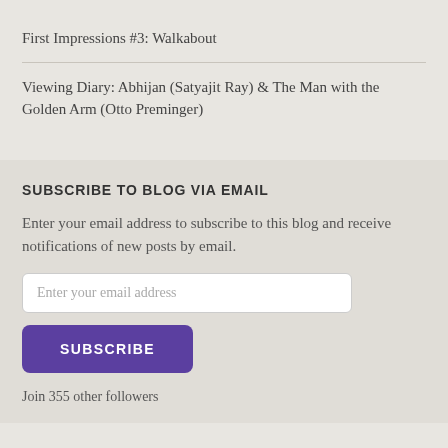First Impressions #3: Walkabout
Viewing Diary: Abhijan (Satyajit Ray) & The Man with the Golden Arm (Otto Preminger)
SUBSCRIBE TO BLOG VIA EMAIL
Enter your email address to subscribe to this blog and receive notifications of new posts by email.
Enter your email address
SUBSCRIBE
Join 355 other followers